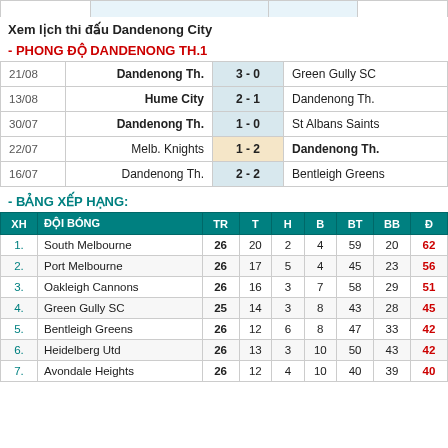Xem lịch thi đấu Dandenong City
- PHONG ĐỘ DANDENONG TH.1
| Date | Home | Score | Away |
| --- | --- | --- | --- |
| 21/08 | Dandenong Th. | 3 - 0 | Green Gully SC |
| 13/08 | Hume City | 2 - 1 | Dandenong Th. |
| 30/07 | Dandenong Th. | 1 - 0 | St Albans Saints |
| 22/07 | Melb. Knights | 1 - 2 | Dandenong Th. |
| 16/07 | Dandenong Th. | 2 - 2 | Bentleigh Greens |
- BẢNG XẾP HẠNG:
| XH | ĐỘI BÓNG | TR | T | H | B | BT | BB | Đ |
| --- | --- | --- | --- | --- | --- | --- | --- | --- |
| 1. | South Melbourne | 26 | 20 | 2 | 4 | 59 | 20 | 62 |
| 2. | Port Melbourne | 26 | 17 | 5 | 4 | 45 | 23 | 56 |
| 3. | Oakleigh Cannons | 26 | 16 | 3 | 7 | 58 | 29 | 51 |
| 4. | Green Gully SC | 25 | 14 | 3 | 8 | 43 | 28 | 45 |
| 5. | Bentleigh Greens | 26 | 12 | 6 | 8 | 47 | 33 | 42 |
| 6. | Heidelberg Utd | 26 | 13 | 3 | 10 | 50 | 43 | 42 |
| 7. | Avondale Heights | 26 | 12 | 4 | 10 | 40 | 39 | 40 |